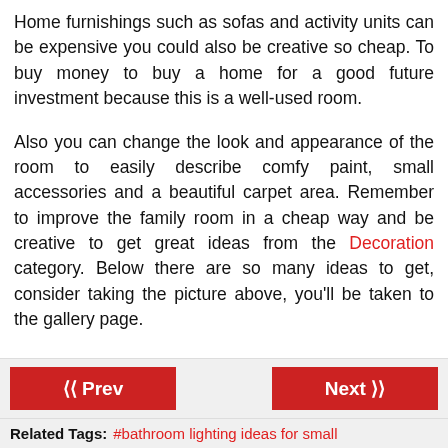Home furnishings such as sofas and activity units can be expensive you could also be creative so cheap. To buy money to buy a home for a good future investment because this is a well-used room.
Also you can change the look and appearance of the room to easily describe comfy paint, small accessories and a beautiful carpet area. Remember to improve the family room in a cheap way and be creative to get great ideas from the Decoration category. Below there are so many ideas to get, consider taking the picture above, you'll be taken to the gallery page.
‹‹ Prev    Next ››
Related Tags: #bathroom lighting ideas for small